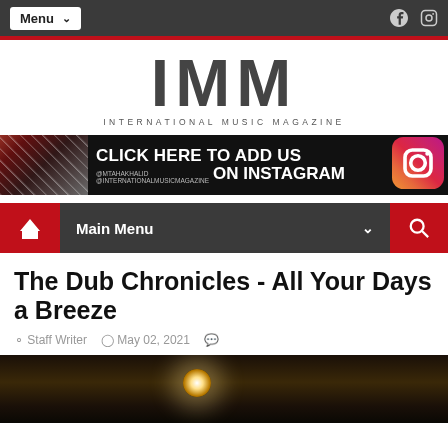Menu
[Figure (logo): IMM International Music Magazine logo with large bold IMM letters and subtitle]
[Figure (infographic): Instagram follow banner: CLICK HERE TO ADD US ON INSTAGRAM @mtahakhalid @internationalmusicmagazine]
Main Menu
The Dub Chronicles - All Your Days a Breeze
Staff Writer  May 02, 2021
[Figure (photo): Dark photograph showing a spotlight/stage light with warm glow in a dark setting]